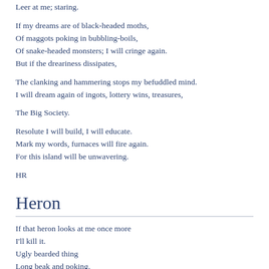Leer at me; staring.
If my dreams are of black-headed moths,
Of maggots poking in bubbling-boils,
Of snake-headed monsters; I will cringe again.
But if the dreariness dissipates,
The clanking and hammering stops my befuddled mind.
I will dream again of ingots, lottery wins, treasures,
The Big Society.
Resolute I will build, I will educate.
Mark my words, furnaces will fire again.
For this island will be unwavering.
HR
Heron
If that heron looks at me once more
I'll kill it.
Ugly bearded thing
Long beak and poking.
Who the hell does it think it is?
Staring with bead yellow eyes at me.
I…